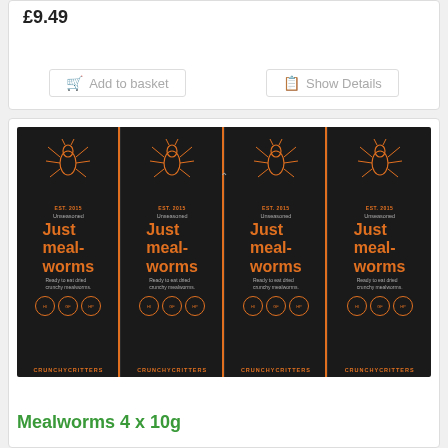£9.49
Add to basket
Show Details
[Figure (photo): Four black packets of 'Just meal-worms' by Crunchy Critters, arranged side by side. Each packet is dark/black with orange text and branding, featuring an insect line-drawing illustration at the top, three circular badges, and the Crunchy Critters brand name at the bottom.]
Mealworms 4 x 10g